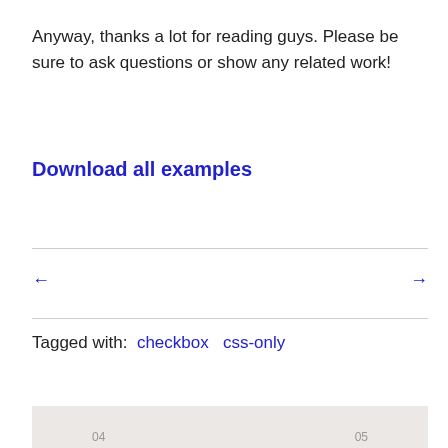Anyway, thanks a lot for reading guys. Please be sure to ask questions or show any related work!
Download all examples
← →
Tagged with: checkbox  css-only
04   05